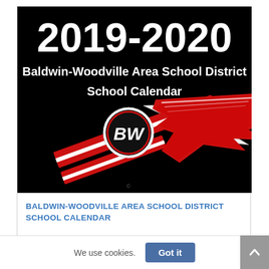[Figure (illustration): Black background image with large white bold text '2019-2020' at top, followed by 'Baldwin-Woodville Area School District' and 'School Calendar' in white. Below is the school logo: a red and white arrow/spear motif with a circular BW badge in red and white.]
BALDWIN-WOODVILLE AREA SCHOOL DISTRICT SCHOOL CALENDAR
We use cookies.